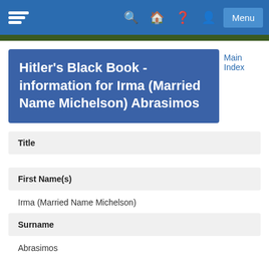Hitler's Black Book - information for Irma (Married Name Michelson) Abrasimos — navigation bar with logo, search, home, help, profile, Menu
Hitler's Black Book - information for Irma (Married Name Michelson) Abrasimos
Main Index
| Title | First Name(s) |  | Surname |  |
| --- | --- | --- | --- | --- |
|  | Irma (Married Name Michelson) |  | Abrasimos |  |
Irma (Married Name Michelson)
Abrasimos